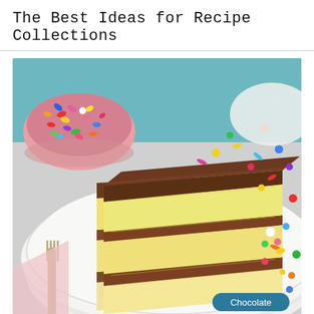The Best Ideas for Recipe Collections
[Figure (photo): A close-up photo of a slice of layered yellow cake with chocolate frosting between the layers and on top, on a white plate with a fork. In the background, a pink bowl filled with colorful candy sprinkles, a teal surface with sprinkles, and more sprinkles scattered around. A teal label reading 'Chocolate' appears in the bottom-right corner.]